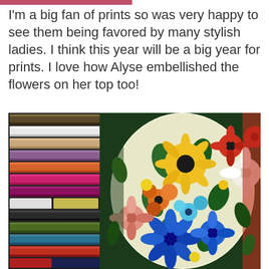I'm a big fan of prints so was very happy to see them being favored by many stylish ladies. I think this year will be a big year for prints. I love how Alyse embellished the flowers on her top too!
[Figure (photo): A colorful photo showing rows of thread spools in various colors (purple, white, tan, orange, pink, magenta, green, blue, red) stacked on the left side, and on the right side a floral fabric top or garment embellished with large decorative fabric flowers in yellow, orange, blue, red, and pink colors.]